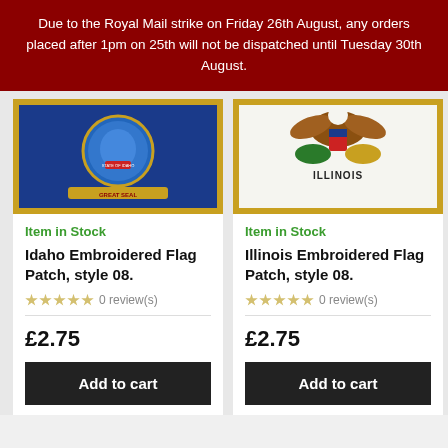Due to the Royal Mail strike on Friday 26th August, any orders placed after 1pm on 25th will not be dispatched until Tuesday 30th August.
[Figure (photo): Idaho Embroidered Flag Patch photo showing blue background with state seal and gold border]
Item in Stock
Idaho Embroidered Flag Patch, style 08.
0 review(s)
£2.75
Add to cart
[Figure (photo): Illinois Embroidered Flag Patch photo showing white background with state seal, eagle, and gold border, with ILLINOIS text]
Item in Stock
Illinois Embroidered Flag Patch, style 08.
0 review(s)
£2.75
Add to cart